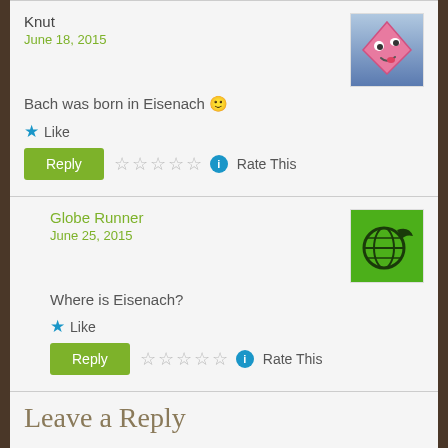Knut
June 18, 2015
Bach was born in Eisenach 🙂
Like
Reply | Rate This
Globe Runner
June 25, 2015
Where is Eisenach?
Like
Reply | Rate This
Leave a Reply